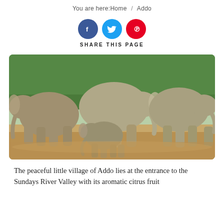You are here: Home / Addo
[Figure (infographic): Social share buttons: Facebook (dark blue circle with f), Twitter (light blue circle with bird), Pinterest (red circle with P), with label SHARE THIS PAGE below]
[Figure (photo): A herd of elephants including adults and a baby elephant playing in sandy/muddy terrain with green trees in the background at Addo Elephant Park]
The peaceful little village of Addo lies at the entrance to the Sundays River Valley with its aromatic citrus fruit